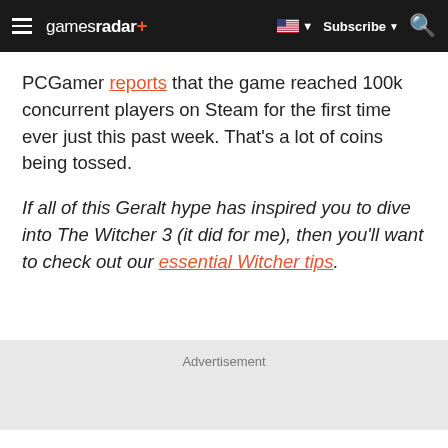gamesradar+ | Subscribe | Search
PCGamer reports that the game reached 100k concurrent players on Steam for the first time ever just this past week. That's a lot of coins being tossed.
If all of this Geralt hype has inspired you to dive into The Witcher 3 (it did for me), then you'll want to check out our essential Witcher tips.
Advertisement